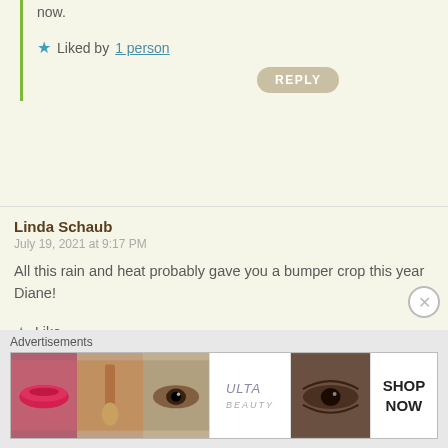now.
Liked by 1 person
REPLY
Linda Schaub
July 19, 2021 at 9:17 PM
All this rain and heat probably gave you a bumper crop this year Diane!
Like
indianeskitchen
July 20, 2021 at 12:05 PM
It sure did and about one more week of picking. It's
Advertisements
[Figure (photo): Ulta beauty advertisement banner showing makeup and cosmetics imagery with SHOP NOW text]